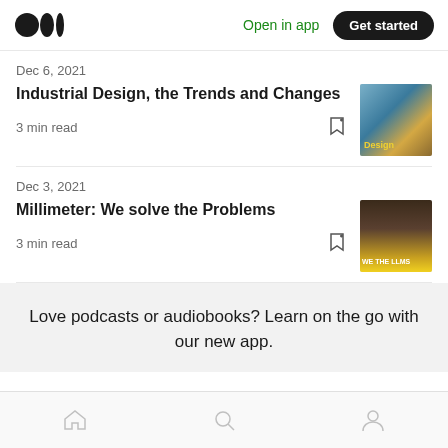Medium logo | Open in app | Get started
Dec 6, 2021
Industrial Design, the Trends and Changes
3 min read
Dec 3, 2021
Millimeter: We solve the Problems
3 min read
Love podcasts or audiobooks? Learn on the go with our new app.
Home | Search | Profile